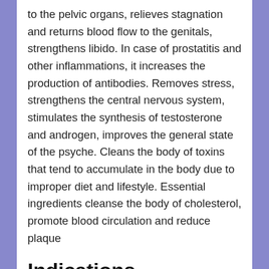to the pelvic organs, relieves stagnation and returns blood flow to the genitals, strengthens libido. In case of prostatitis and other inflammations, it increases the production of antibodies. Removes stress, strengthens the central nervous system, stimulates the synthesis of testosterone and androgen, improves the general state of the psyche. Cleans the body of toxins that tend to accumulate in the body due to improper diet and lifestyle. Essential ingredients cleanse the body of cholesterol, promote blood circulation and reduce plaque
Indications
Nutraceutical. Does not contain taste. Overdoses